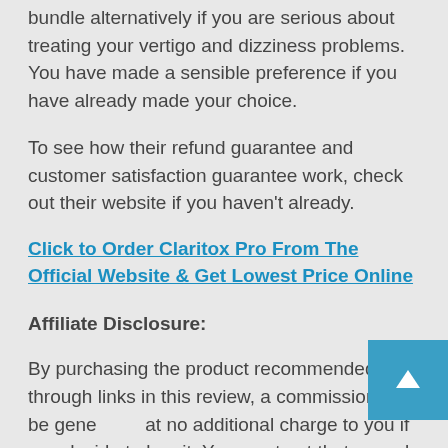bundle alternatively if you are serious about treating your vertigo and dizziness problems. You have made a sensible preference if you have already made your choice.
To see how their refund guarantee and customer satisfaction guarantee work, check out their website if you haven’t already.
Click to Order Claritox Pro From The Official Website & Get Lowest Price Online
Affiliate Disclosure:
By purchasing the product recommended through links in this review, a commission may be generated at no additional charge to you if you decide to buy it. You can trust that we only recommend high quality